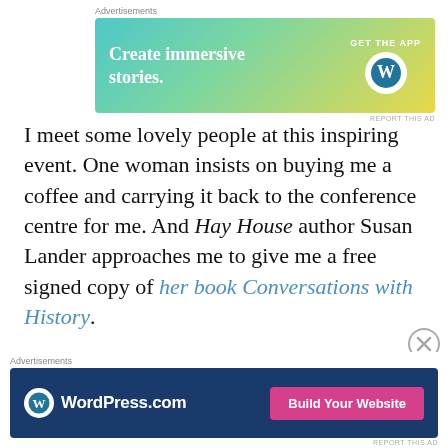[Figure (other): Advertisement banner: 'Create immersive stories. GET THE APP' with WordPress logo, gradient teal-green-yellow background]
I meet some lovely people at this inspiring event. One woman insists on buying me a coffee and carrying it back to the conference centre for me. And Hay House author Susan Lander approaches me to give me a free signed copy of her book Conversations with History.
Despite all the learning, awareness and random acts of kindness, I decide that I've had enough of the crutches. It takes so much effort and energy to use them. My arms are paining me. And I want to be seen as a "normal" 35-year
[Figure (other): Advertisement banner: WordPress.com logo with 'Build Your Website' pink button on dark blue background]